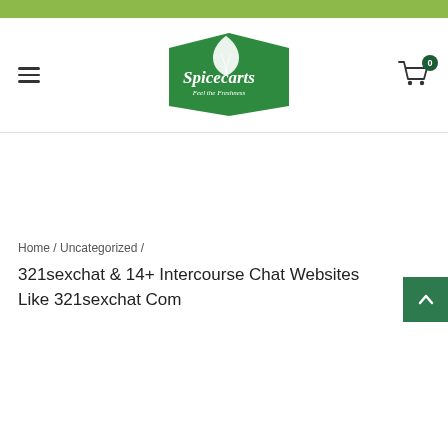[Figure (logo): Spicecarts logo — green pentagon-shaped badge with white herb leaf and text 'Spicecarts Feel the Freshness']
Home / Uncategorized /
321sexchat & 14+ Intercourse Chat Websites Like 321sexchat Com